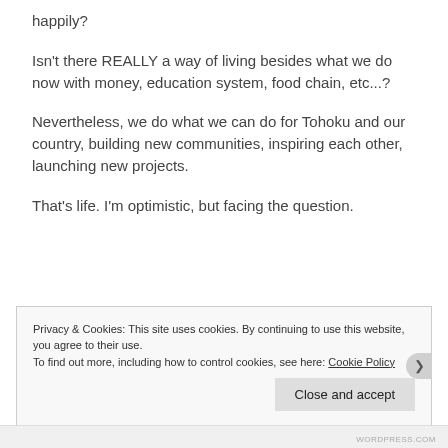happily?
Isn't there REALLY a way of living besides what we do now with money, education system, food chain, etc...?
Nevertheless, we do what we can do for Tohoku and our country, building new communities, inspiring each other, launching new projects.
That's life. I'm optimistic, but facing the question.
Privacy & Cookies: This site uses cookies. By continuing to use this website, you agree to their use.
To find out more, including how to control cookies, see here: Cookie Policy
WordPress.com